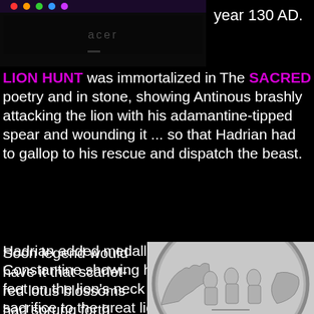[Figure (photo): Screenshot of an Acer monitor/computer screen with colorful display at top]
year 130 AD.
The SACRED LION HUNT was immortalized in poetry and in stone, showing Antinous brashly attacking the lion with his adamantine-tipped spear and wounding it ... so that Hadrian had to gallop to his rescue and dispatch the beast.
Hadrian added medallions to the Arch of Constantine showing him and Antinous with feet on the lion's neck and also making sacrifice to the great lion-killer Hercules.
Soon legend would have it that scarlet-red lotus blossoms had sprung forth
[Figure (photo): Black and white photo of a circular medallion relief sculpture showing multiple figures in Roman style dress]